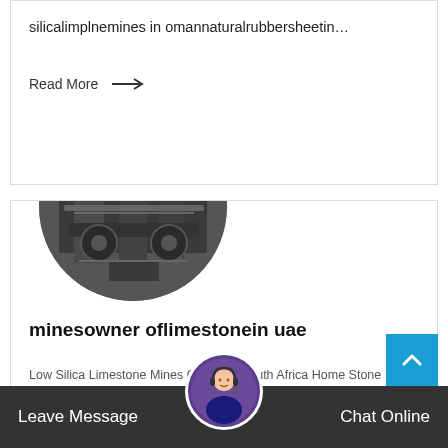silicalimplnemines in omannaturalrubbersheetin…
Read More →
[Figure (photo): Circular cropped photo of industrial mining machinery — crushers and conveyor equipment in black and white/dark tones]
minesowner oflimestonein uae
Low Silica Limestone Mines Owner In South Africa Home Stone Mining Limestone mines for salein omansolution forlow silica limestonemines…